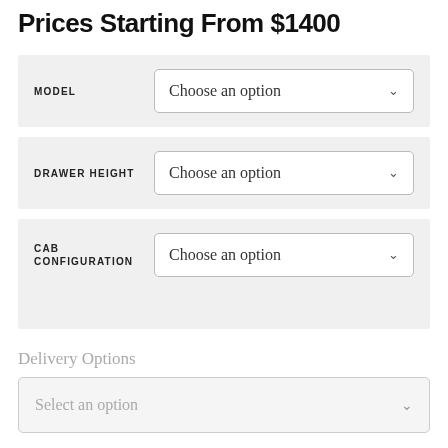Prices Starting From $1400
MODEL — Choose an option
DRAWER HEIGHT — Choose an option
CAB CONFIGURATION — Choose an option
Delivery Options
Select an option
Installation Required?
[Checkbox]